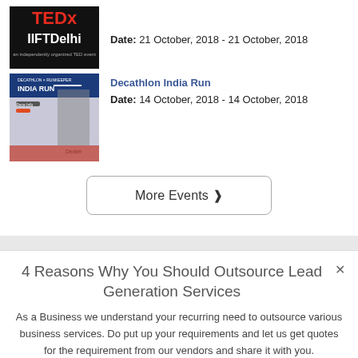Date: 21 October, 2018 - 21 October, 2018
[Figure (photo): TEDx IIFTDelhi event logo on black background]
Decathlon India Run
Date: 14 October, 2018 - 14 October, 2018
[Figure (photo): Decathlon India Run event promotional image with runners]
More Events ❯
4 Reasons Why You Should Outsource Lead Generation Services
As a Business we understand your recurring need to outsource various business services. Do put up your requirements and let us get quotes for the requirement from our vendors and share it with you.